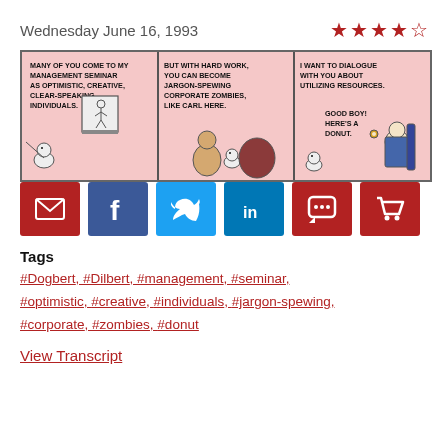Wednesday June 16, 1993
[Figure (illustration): Dilbert comic strip with three panels. Panel 1: Dogbert stands at a whiteboard saying 'MANY OF YOU COME TO MY MANAGEMENT SEMINAR AS OPTIMISTIC, CREATIVE, CLEAR-SPEAKING INDIVIDUALS.' Panel 2: Dogbert says 'BUT WITH HARD WORK, YOU CAN BECOME JARGON-SPEWING CORPORATE ZOMBIES, LIKE CARL HERE.' Panel 3: A manager says 'I WANT TO DIALOGUE WITH YOU ABOUT UTILIZING RESOURCES.' then 'GOOD BOY! HERE'S A DONUT.']
[Figure (infographic): Social sharing buttons: email (red), Facebook (blue), Twitter (light blue), LinkedIn (dark blue), comment (red), cart (red)]
Tags
#Dogbert, #Dilbert, #management, #seminar, #optimistic, #creative, #individuals, #jargon-spewing, #corporate, #zombies, #donut
View Transcript